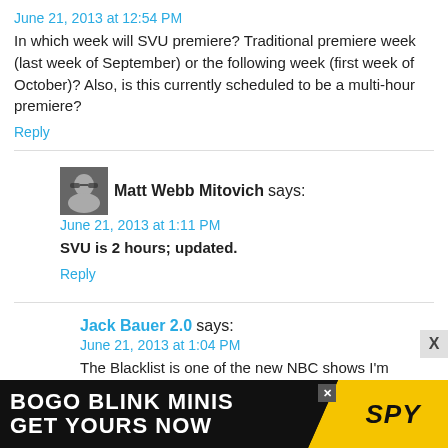June 21, 2013 at 12:54 PM
In which week will SVU premiere? Traditional premiere week (last week of September) or the following week (first week of October)? Also, is this currently scheduled to be a multi-hour premiere?
Reply
[Figure (photo): Small avatar photo of Matt Webb Mitovich, a man with glasses]
Matt Webb Mitovich says:
June 21, 2013 at 1:11 PM
SVU is 2 hours; updated.
Reply
Jack Bauer 2.0 says:
June 21, 2013 at 1:04 PM
The Blacklist is one of the new NBC shows I'm looking
[Figure (infographic): Advertisement banner: BOGO BLINK MINIS GET YOURS NOW with SPY logo on yellow background]